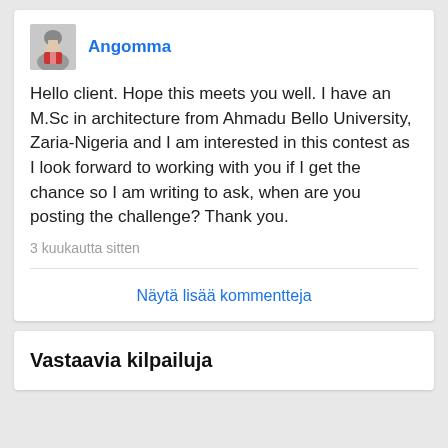Angomma
Hello client. Hope this meets you well. I have an M.Sc in architecture from Ahmadu Bello University, Zaria-Nigeria and I am interested in this contest as I look forward to working with you if I get the chance so I am writing to ask, when are you posting the challenge? Thank you.
3 kuukautta sitten
Näytä lisää kommentteja
Vastaavia kilpailuja